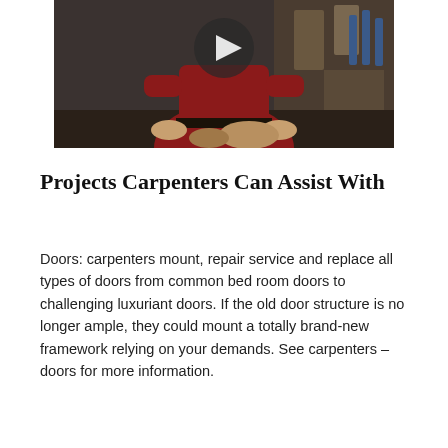[Figure (photo): Video thumbnail showing a man in a red shirt in a woodworking workshop, with a play button overlay]
Projects Carpenters Can Assist With
Doors: carpenters mount, repair service and replace all types of doors from common bed room doors to challenging luxuriant doors. If the old door structure is no longer ample, they could mount a totally brand-new framework relying on your demands. See carpenters – doors for more information.